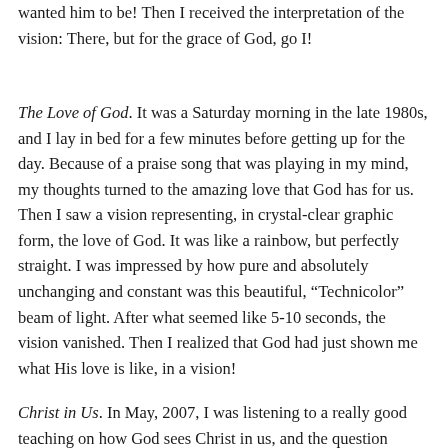wanted him to be! Then I received the interpretation of the vision: There, but for the grace of God, go I!
The Love of God. It was a Saturday morning in the late 1980s, and I lay in bed for a few minutes before getting up for the day. Because of a praise song that was playing in my mind, my thoughts turned to the amazing love that God has for us. Then I saw a vision representing, in crystal-clear graphic form, the love of God. It was like a rainbow, but perfectly straight. I was impressed by how pure and absolutely unchanging and constant was this beautiful, “Technicolor” beam of light. After what seemed like 5-10 seconds, the vision vanished. Then I realized that God had just shown me what His love is like, in a vision!
Christ in Us. In May, 2007, I was listening to a really good teaching on how God sees Christ in us, and the question